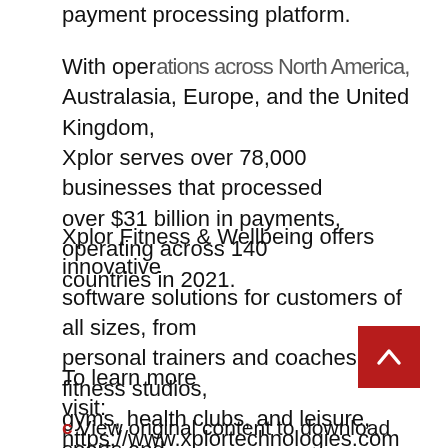payment processing platform.
With operations across North America, Australasia, Europe, and the United Kingdom, Xplor serves over 78,000 businesses that processed over $31 billion in payments, operating across 140 countries in 2021.
Xplor Fitness & Wellbeing offers innovative software solutions for customers of all sizes, from personal trainers and coaches to fitness studios, gyms, health clubs, and leisure, sports and recreation communities, clubs and federations. Flagship solutions include Mariana Tek, Xplor Recreation, Xplor Studio and TrueCoach.
To learn more visit: https://www.xplortechnologies.com
View original content to download